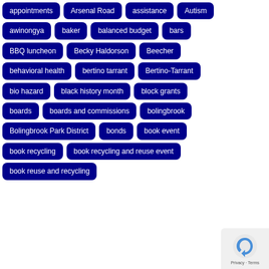appointments
Arsenal Road
assistance
Autism
awinongya
baker
balanced budget
bars
BBQ luncheon
Becky Haldorson
Beecher
behavioral health
bertino tarrant
Bertino-Tarrant
bio hazard
black history month
block grants
boards
boards and commissions
bolingbrook
Bolingbrook Park District
bonds
book event
book recycling
book recycling and reuse event
book reuse and recycling